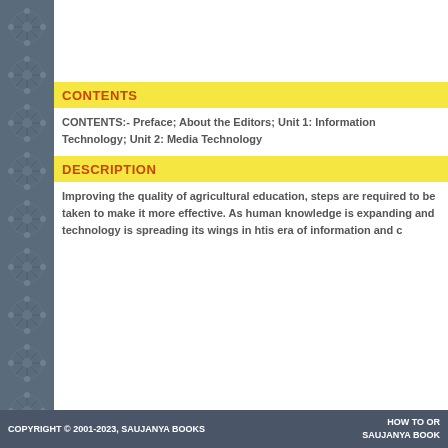CONTENTS
CONTENTS:- Preface; About the Editors; Unit 1: Information Technology; Unit 2: Media Technology
DESCRIPTION
Improving the quality of agricultural education, steps are required to be taken to make it more effective. As human knowledge is expanding and technology is spreading its wings in htis era of information and communication.
COPYRIGHT © 2001-2023, SAUJANYA BOOKS    HOW TO OR  SAUJANYA BOOK